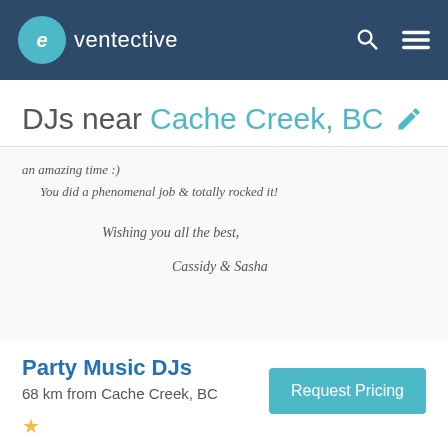eventective
DJs near Cache Creek, BC
[Figure (photo): Handwritten note in cursive on white paper reading: 'an amazing time :) You did a phenomenal job & totally rocked it! Wishing you all the best, Cassidy & Sasha']
Party Music DJs
68 km from Cache Creek, BC
Request Pricing